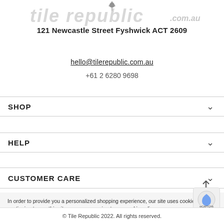[Figure (logo): Tile Republic logo in light grey italics with .com.au text and map pin icon]
121 Newcastle Street Fyshwick ACT 2609
hello@tilerepublic.com.au
+61 2 6280 9698
SHOP
HELP
CUSTOMER CARE
In order to provide you a personalized shopping experience, our site uses cookies. By continuing to use this site, you are agreeing to our cookie policy.
© Tile Republic 2022. All rights reserved.